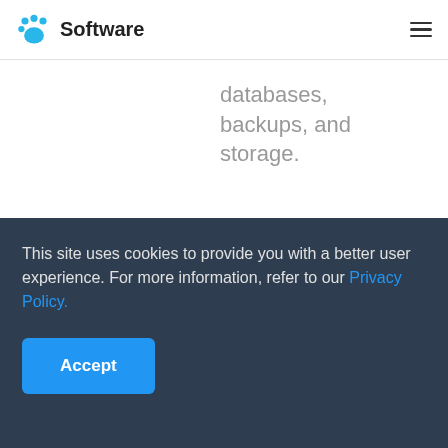Software
databases, backups, and storage.
[Figure (illustration): Database cylinder icon (read-only permissions)]
[Figure (logo): SOC 2 certification badge icon]
Read-only permissions
SOC 2
This site uses cookies to provide you with a better user experience. For more information, refer to our Privacy Policy.
Accept